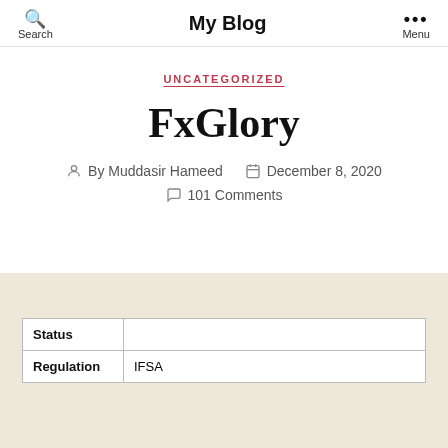Search | My Blog | Menu
UNCATEGORIZED
FxGlory
By Muddasir Hameed  December 8, 2020  101 Comments
| Status |  |
| --- | --- |
| Regula­tion | IFSA |